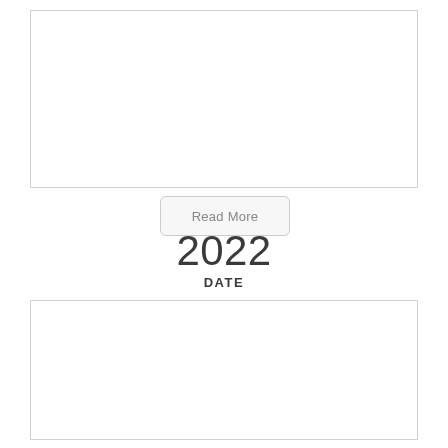[Figure (other): Top white rectangular box with light gray border]
Read More
2022
DATE
03 - 20
[Figure (other): Bottom white rectangular box with light gray border]